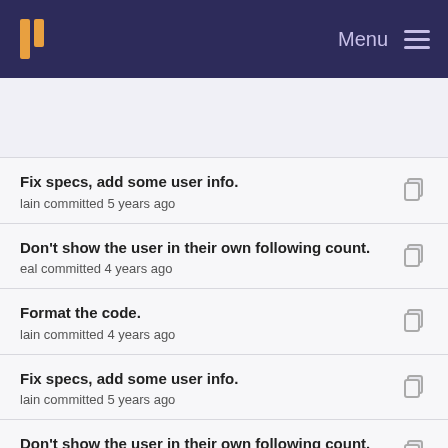Menu
Fix specs, add some user info.
lain committed 5 years ago
Don't show the user in their own following count.
eal committed 4 years ago
Format the code.
lain committed 4 years ago
Fix specs, add some user info.
lain committed 5 years ago
Don't show the user in their own following count.
eal committed 4 years ago
Save follower count and note count in user.
lain committed 5 years ago
Fix specs, add some user info.